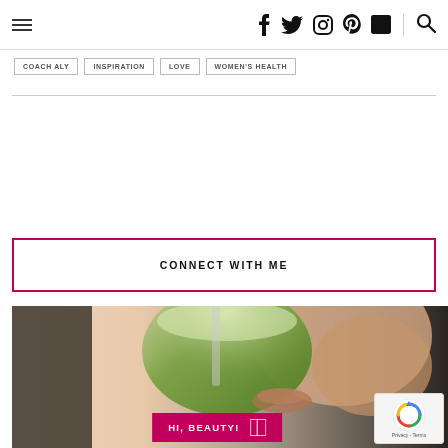Navigation header with hamburger menu, social icons (Facebook, Twitter, Instagram, Pinterest, LinkedIn), and search icon
COACH ALY
INSPIRATION
LOVE
WOMEN'S HEALTH
CONNECT WITH ME
[Figure (photo): Person drinking a green smoothie/juice from a glass, with pink reCAPTCHA badge overlay and a pink 'HI, BEAUTY!' banner at the bottom]